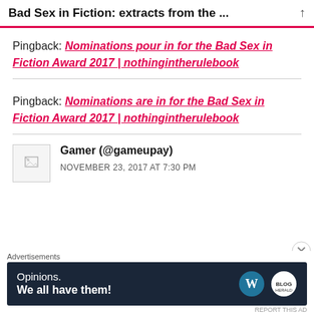Bad Sex in Fiction: extracts from the ...
Pingback: Nominations pour in for the Bad Sex in Fiction Award 2017 | nothingintherulebook
Pingback: Nominations are in for the Bad Sex in Fiction Award 2017 | nothingintherulebook
Gamer (@gameupay) NOVEMBER 23, 2017 AT 7:30 PM
Advertisements Opinions. We all have them!